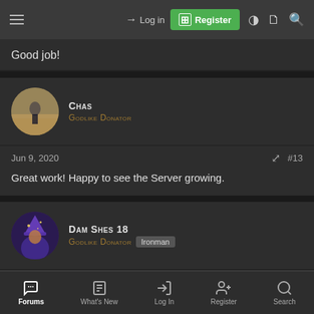Log in | Register
Good job!
CHAS
Godlike Donator
Jun 9, 2020 #13
Great work! Happy to see the Server growing.
DAM SHES 18
Godlike Donator Ironman
Jul 7, 2020 #14
Forums | What's New | Log In | Register | Search